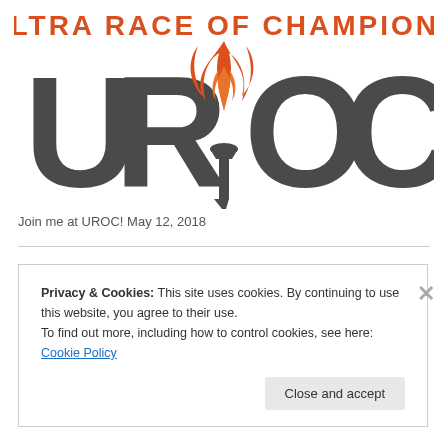[Figure (logo): UROC - Ultra Race of Champions logo with stylized letters UROC and a torch flame in orange/dark gray]
Join me at UROC! May 12, 2018
Privacy & Cookies: This site uses cookies. By continuing to use this website, you agree to their use.
To find out more, including how to control cookies, see here: Cookie Policy
Close and accept